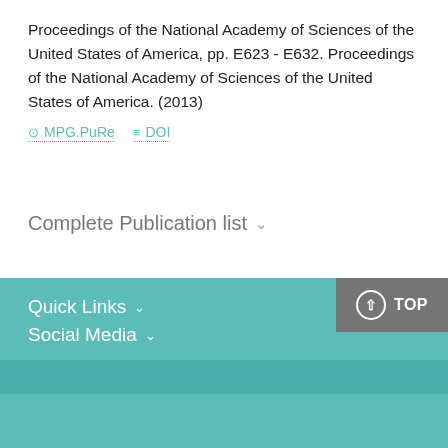Proceedings of the National Academy of Sciences of the United States of America, pp. E623 - E632. Proceedings of the National Academy of Sciences of the United States of America. (2013)
MPG.PuRe   DOI
Complete Publication list ∨
Quick Links ∨
Social Media ∨